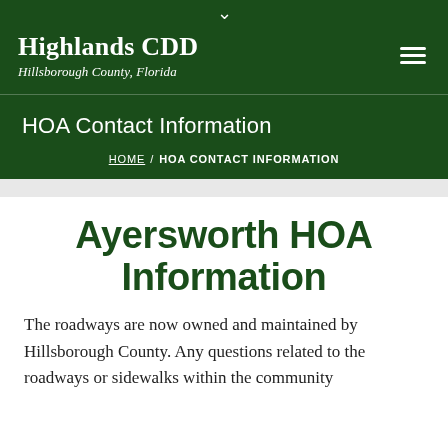Highlands CDD
Hillsborough County, Florida
HOA Contact Information
HOME / HOA CONTACT INFORMATION
Ayersworth HOA Information
The roadways are now owned and maintained by Hillsborough County. Any questions related to the roadways or sidewalks within the community